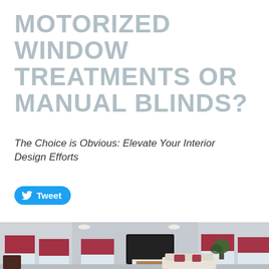MOTORIZED WINDOW TREATMENTS OR MANUAL BLINDS?
The Choice is Obvious: Elevate Your Interior Design Efforts
Tweet
[Figure (photo): Modern living room interior with red/crimson motorized roller shades partially lowered on multiple windows, a wall-mounted flat screen TV above a white fireplace, grey walls, recessed lighting, and contemporary furniture including a white sofa with red accent pillows and a decorative plant.]